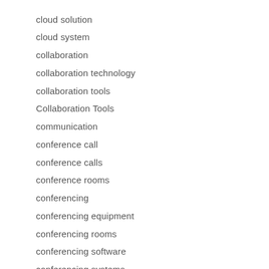cloud solution
cloud system
collaboration
collaboration technology
collaboration tools
Collaboration Tools
communication
conference call
conference calls
conference rooms
conferencing
conferencing equipment
conferencing rooms
conferencing software
conferencing systems